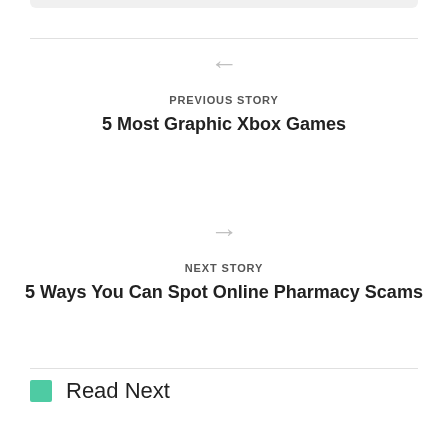PREVIOUS STORY
5 Most Graphic Xbox Games
NEXT STORY
5 Ways You Can Spot Online Pharmacy Scams
Read Next